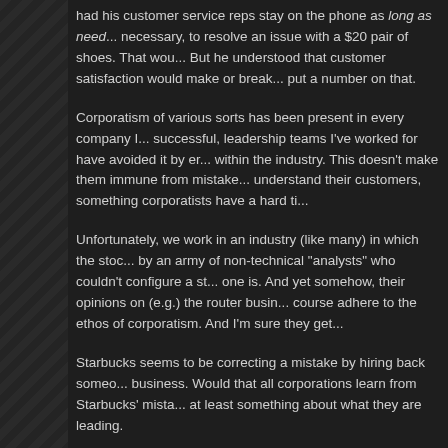had his customer service reps stay on the phone as long as necessary, to resolve an issue with a $20 pair of shoes. That would... But he understood that customer satisfaction would make or break... put a number on that.
Corporatism of various sorts has been present in every company... successful, leadership teams I've worked for have avoided it by... within the industry. This doesn't make them immune from mistake... understand their customers, something corporatists have a hard ti...
Unfortunately, we work in an industry (like many) in which the sto... by an army of non-technical "analysts" who couldn't configure a st... one is. And yet somehow, their opinions on (e.g.) the router busin... course adhere to the ethos of corporatism. And I'm sure they get...
Starbucks seems to be correcting a mistake by hiring back someo... business. Would that all corporations learn from Starbucks' mista... at least something about what they are leading.
👍 2 👎